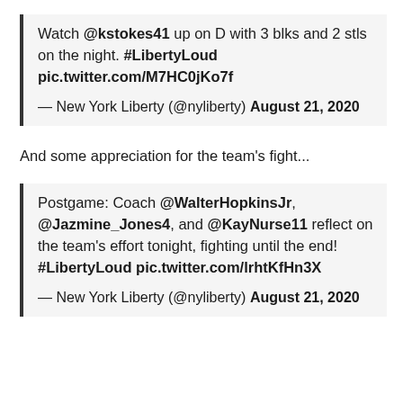Watch @kstokes41 up on D with 3 blks and 2 stls on the night. #LibertyLoud pic.twitter.com/M7HC0jKo7f

— New York Liberty (@nyliberty) August 21, 2020
And some appreciation for the team's fight...
Postgame: Coach @WalterHopkinsJr, @Jazmine_Jones4, and @KayNurse11 reflect on the team's effort tonight, fighting until the end! #LibertyLoud pic.twitter.com/lrhtKfHn3X

— New York Liberty (@nyliberty) August 21, 2020